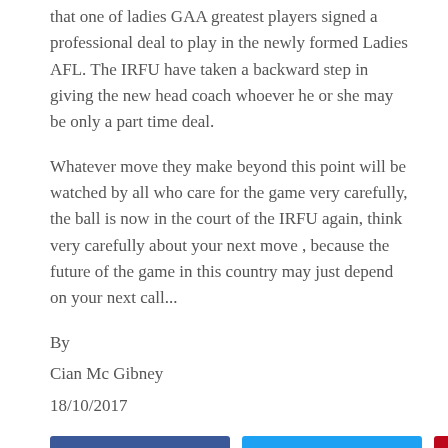that one of ladies GAA greatest players signed a professional deal to play in the newly formed Ladies AFL. The IRFU have taken a backward step in giving the new head coach whoever he or she may be only a part time deal.
Whatever move they make beyond this point will be watched by all who care for the game very carefully, the ball is now in the court of the IRFU again, think very carefully about your next move , because the future of the game in this country may just depend on your next call...
By
Cian Mc Gibney
18/10/2017
[Figure (other): Social share buttons: Facebook, Twitter, Pinterest, LinkedIn]